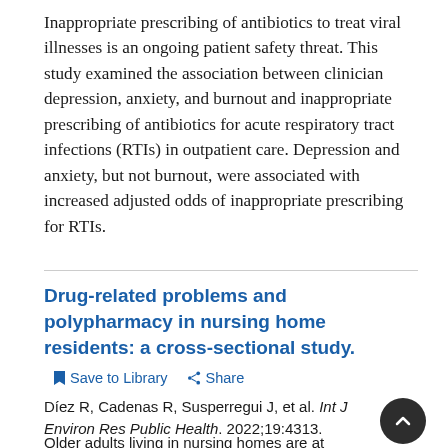Inappropriate prescribing of antibiotics to treat viral illnesses is an ongoing patient safety threat. This study examined the association between clinician depression, anxiety, and burnout and inappropriate prescribing of antibiotics for acute respiratory tract infections (RTIs) in outpatient care. Depression and anxiety, but not burnout, were associated with increased adjusted odds of inappropriate prescribing for RTIs.
Drug-related problems and polypharmacy in nursing home residents: a cross-sectional study.
Save to Library   Share
Díez R, Cadenas R, Susperregui J, et al. Int J Environ Res Public Health. 2022;19:4313.
Older adults living in nursing homes are at